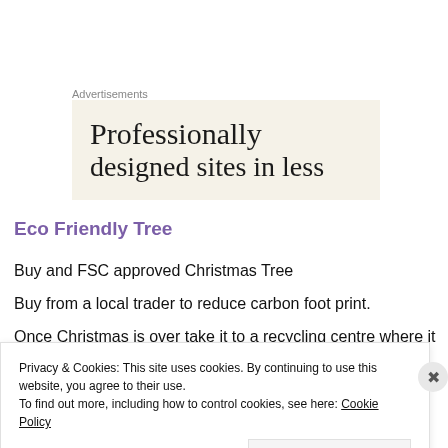Advertisements
[Figure (other): Advertisement banner with beige background showing text 'Professionally designed sites in less']
Eco Friendly Tree
Buy and FSC approved Christmas Tree
Buy from a local trader to reduce carbon foot print.
Once Christmas is over take it to a recycling centre where it
Privacy & Cookies: This site uses cookies. By continuing to use this website, you agree to their use.
To find out more, including how to control cookies, see here: Cookie Policy
Close and accept